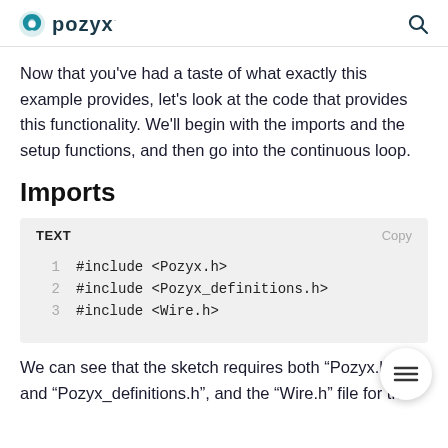pozyx
Now that you've had a taste of what exactly this example provides, let's look at the code that provides this functionality. We'll begin with the imports and the setup functions, and then go into the continuous loop.
Imports
[Figure (screenshot): Code block with TEXT label and Copy button, showing three #include lines: #include <Pozyx.h>, #include <Pozyx_definitions.h>, #include <Wire.h>]
We can see that the sketch requires both "Pozyx.h" and "Pozyx_definitions.h", and the "Wire.h" file for the